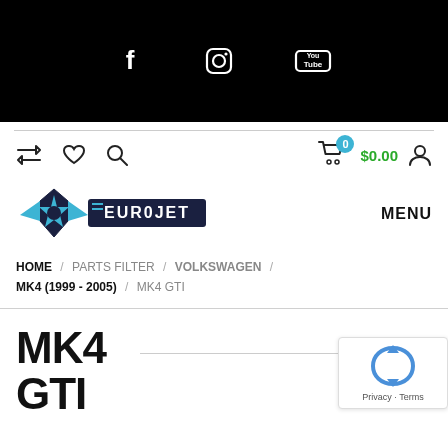[Figure (screenshot): Black header bar with Facebook, Instagram, and YouTube social media icons in white]
[Figure (screenshot): Navigation utility bar with repeat, heart, search icons on left; cart with badge showing 0, $0.00 price in green, and user icon on right]
[Figure (logo): EuroJet logo: blue star/shield icon with EUROJET text in white on black rectangle background]
MENU
HOME / PARTS FILTER / VOLKSWAGEN / MK4 (1999-2005) / MK4 GTI
MK4 GTI